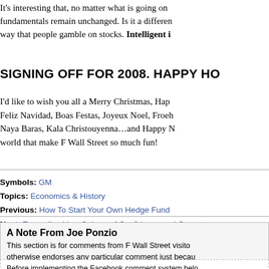It's interesting that, no matter what is going on in the market, fundamentals remain unchanged. Is it a different way that people gamble on stocks. Intelligent i…
SIGNING OFF FOR 2008. HAPPY HO…
I'd like to wish you all a Merry Christmas, Happ… Feliz Navidad, Boas Festas, Joyeux Noel, Froeh… Naya Baras, Kala Christouyenna…and Happy N… world that make F Wall Street so much fun!
Symbols: GM
Topics: Economics & History
Previous: How To Start Your Own Hedge Fund
Next: Expanding Your Sphere of Confidence and Compete…
A Note From Joe Ponzio
This section is for comments from F Wall Street visito… otherwise endorses any particular comment just becau…
Before implementing the Facebook comment system below… Wall Street. This article had 21 comments which you can v…